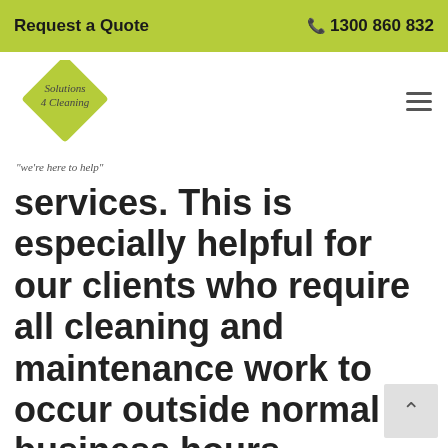Request a Quote   1300 860 832
[Figure (logo): Solutions 4 Cleaning diamond-shaped logo with tagline 'we're here to help']
services. This is especially helpful for our clients who require all cleaning and maintenance work to occur outside normal business hours. Solutions 4 Cleaning are able to conduct our test and tag services alongside of our existing cleaning